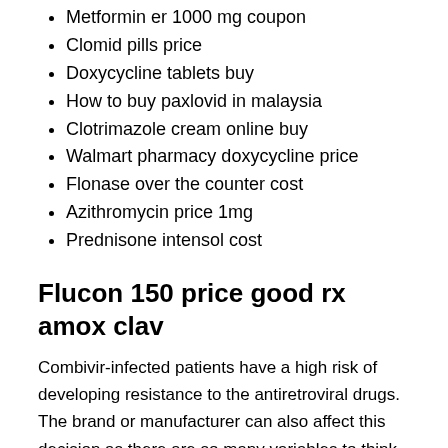Metformin er 1000 mg coupon
Clomid pills price
Doxycycline tablets buy
How to buy paxlovid in malaysia
Clotrimazole cream online buy
Walmart pharmacy doxycycline price
Flonase over the counter cost
Azithromycin price 1mg
Prednisone intensol cost
Flucon 150 price good rx amox clav
Combivir-infected patients have a high risk of developing resistance to the antiretroviral drugs. The brand or manufacturer can also affect this decision as there are so many variables to think about such as the cost of manufacturing, price competition, brand loyalty, and